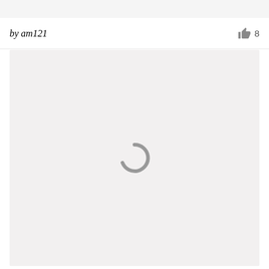by am121
[Figure (other): Like/thumbs-up icon followed by the number 8]
[Figure (other): Loading spinner icon (partial circle arc in gray) centered in a light gray content area]